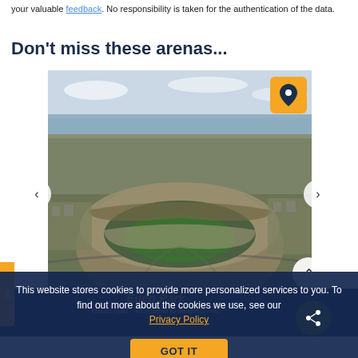your valuable feedback. No responsibility is taken for the authentication of the data.
Don't miss these arenas...
[Figure (photo): Aerial photograph of Eden Park stadium surrounded by urban Auckland cityscape with water in the background. A yellow location pin button overlay appears in top right corner.]
Eden Park
This website stores cookies to provide more personalized services to you. To find out more about the cookies we use, see our Privacy Policy
GOT IT